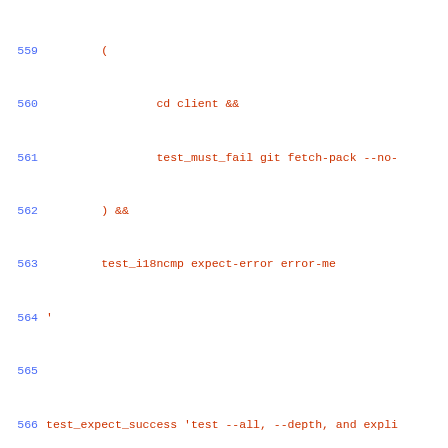Code listing lines 559-588, shell script test code using git fetch-pack and test_expect_success commands